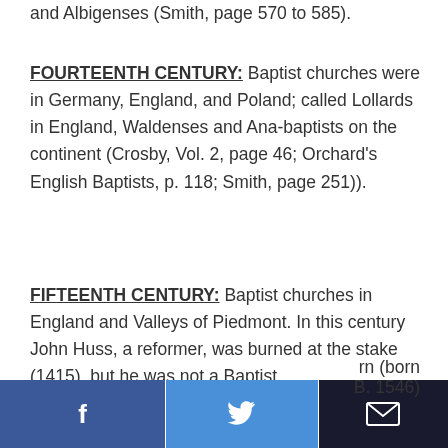and Albigenses (Smith, page 570 to 585).
FOURTEENTH CENTURY: Baptist churches were in Germany, England, and Poland; called Lollards in England, Waldenses and Ana-baptists on the continent (Crosby, Vol. 2, page 46; Orchard's English Baptists, p. 118; Smith, page 251)).
FIFTEENTH CENTURY: Baptist churches in England and Valleys of Piedmont. In this century John Huss, a reformer, was burned at the stake (1415), but he was not a Baptist. [born (born B. 1546)
[Figure (other): Social sharing bar with Facebook, Twitter, and email icons at the bottom of the page]